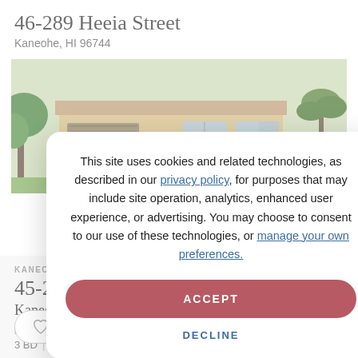46-289 Heeia Street
Kaneohe, HI 96744
[Figure (photo): Exterior photo of a single-story yellow house with garage, driveway, and landscaping]
KANEOHE
45-221
Kaneo
RESIDENTIAL
3 BD | 2 BA
This site uses cookies and related technologies, as described in our privacy policy, for purposes that may include site operation, analytics, enhanced user experience, or advertising. You may choose to consent to our use of these technologies, or manage your own preferences.
ACCEPT
DECLINE